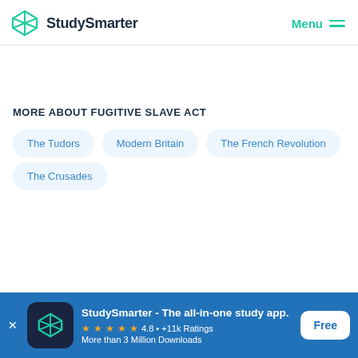[Figure (logo): StudySmarter logo with teal geometric diamond icon and bold text 'StudySmarter']
[Figure (other): Menu icon with two horizontal teal lines and teal 'Menu' text]
MORE ABOUT FUGITIVE SLAVE ACT
The Tudors
Modern Britain
The French Revolution
The Crusades
[Figure (logo): StudySmarter app icon — dark navy background with teal geometric diamond logo]
StudySmarter - The all-in-one study app.
4.8 • +11k Ratings
More than 3 Million Downloads